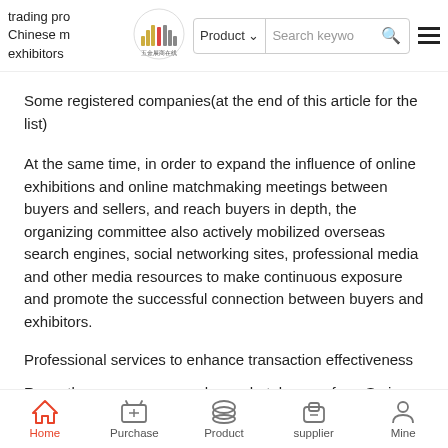trading pro Chinese m exhibitors | Product Search keywo [logo: 五金展商在线]
Some registered companies(at the end of this article for the list)
At the same time, in order to expand the influence of online exhibitions and online matchmaking meetings between buyers and sellers, and reach buyers in depth, the organizing committee also actively mobilized overseas search engines, social networking sites, professional media and other media resources to make continuous exposure and promote the successful connection between buyers and exhibitors.
Professional services to enhance transaction effectiveness
Recently, an overseas purchaser, hotel owner from Syria contacted us through a social networking site. Because h early stage with the de
Home | Purchase | Product | supplier | Mine